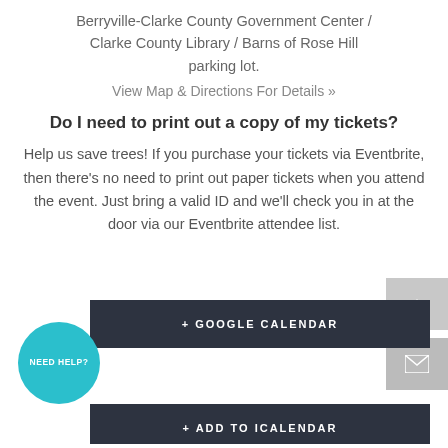Berryville-Clarke County Government Center / Clarke County Library / Barns of Rose Hill parking lot.
View Map & Directions For Details »
Do I need to print out a copy of my tickets?
Help us save trees! If you purchase your tickets via Eventbrite, then there's no need to print out paper tickets when you attend the event. Just bring a valid ID and we'll check you in at the door via our Eventbrite attendee list.
+ GOOGLE CALENDAR
+ ADD TO ICALENDAR
NEED HELP?